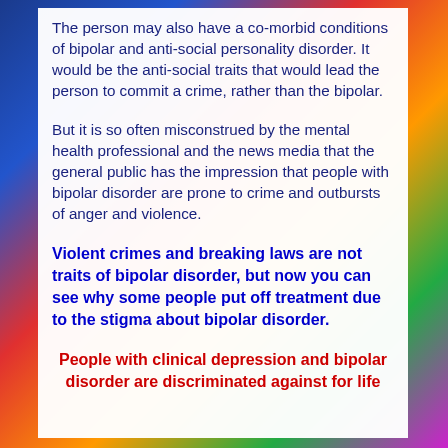The person may also have a co-morbid conditions of bipolar and anti-social personality disorder. It would be the anti-social traits that would lead the person to commit a crime, rather than the bipolar.
But it is so often misconstrued by the mental health professional and the news media that the general public has the impression that people with bipolar disorder are prone to crime and outbursts of anger and violence.
Violent crimes and breaking laws are not traits of bipolar disorder, but now you can see why some people put off treatment due to the stigma about bipolar disorder.
People with clinical depression and bipolar disorder are discriminated against for life